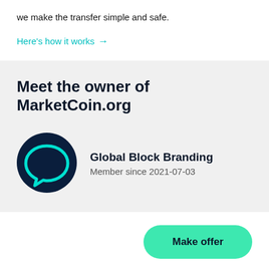we make the transfer simple and safe.
Here's how it works →
Meet the owner of MarketCoin.org
[Figure (logo): Dark navy circle with a cyan speech bubble chat icon inside]
Global Block Branding
Member since 2021-07-03
Make offer